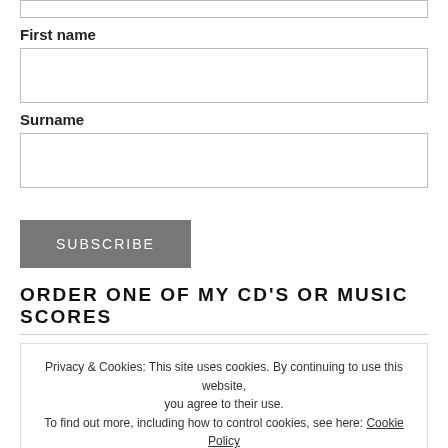First name
[Figure (other): Empty text input box for First name]
Surname
[Figure (other): Empty text input box for Surname]
SUBSCRIBE
ORDER ONE OF MY CD'S OR MUSIC SCORES
Privacy & Cookies: This site uses cookies. By continuing to use this website, you agree to their use. To find out more, including how to control cookies, see here: Cookie Policy
Close and accept
English (UK)